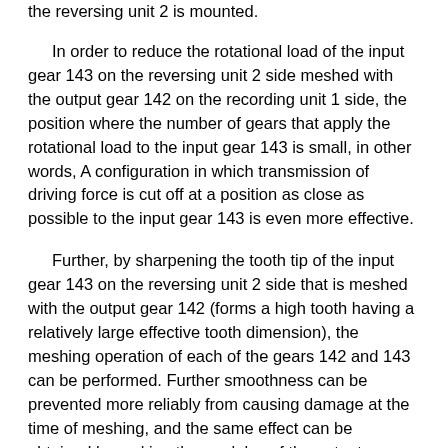the reversing unit 2 is mounted.
In order to reduce the rotational load of the input gear 143 on the reversing unit 2 side meshed with the output gear 142 on the recording unit 1 side, the position where the number of gears that apply the rotational load to the input gear 143 is small, in other words, A configuration in which transmission of driving force is cut off at a position as close as possible to the input gear 143 is even more effective.
Further, by sharpening the tooth tip of the input gear 143 on the reversing unit 2 side that is meshed with the output gear 142 (forms a high tooth having a relatively large effective tooth dimension), the meshing operation of each of the gears 142 and 143 can be performed. Further smoothness can be prevented more reliably from causing damage at the time of meshing, and the same effect can be obtained by making the modules of the output gear 142 and the input gear 143 larger than usual.
In addition, the blocking mechanism for blocking the transmission of the driving force by the transmission gear train 115 does not switch to the blocking state using the